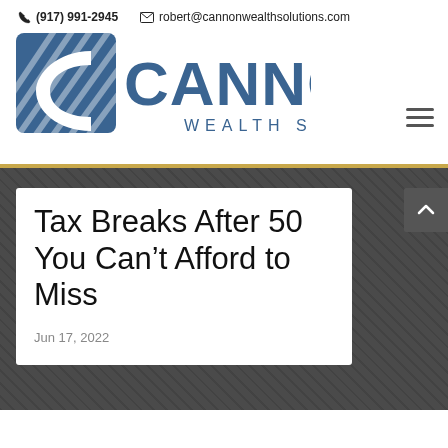☎ (917) 991-2945   ✉ robert@cannonwealthsolutions.com
[Figure (logo): Cannon Wealth Solutions logo — dark blue square with diagonal white stripes and a large stylized C, beside the text CANNON in large blue letters and WEALTH SOLUTIONS in smaller spaced letters below]
Tax Breaks After 50 You Can't Afford to Miss
Jun 17, 2022